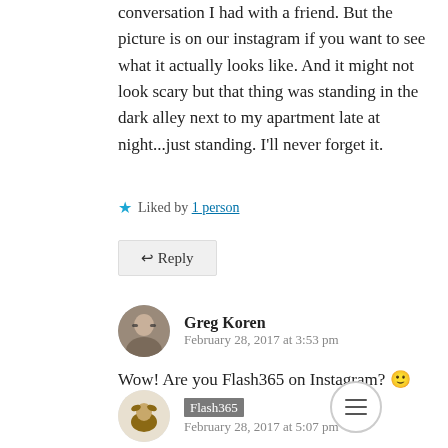conversation I had with a friend. But the picture is on our instagram if you want to see what it actually looks like. And it might not look scary but that thing was standing in the dark alley next to my apartment late at night...just standing. I'll never forget it.
Liked by 1 person
↩ Reply
Greg Koren
February 28, 2017 at 3:53 pm
Wow! Are you Flash365 on Instagram? 🙂
Like
Flash365
February 28, 2017 at 5:07 pm